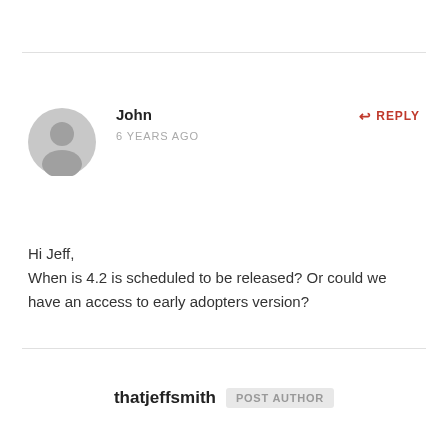[Figure (illustration): Generic user avatar icon — gray circle with silhouette of a person]
John
↩ REPLY
6 YEARS AGO
Hi Jeff,
When is 4.2 is scheduled to be released? Or could we have an access to early adopters version?
thatjeffsmith POST AUTHOR